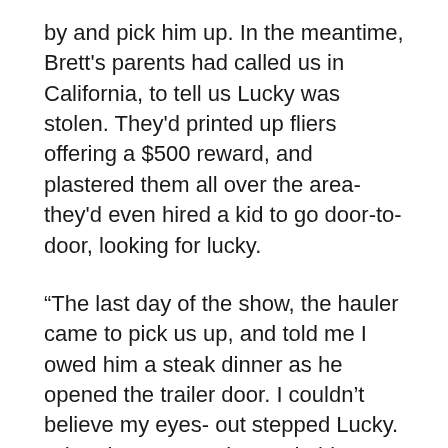by and pick him up. In the meantime, Brett's parents had called us in California, to tell us Lucky was stolen. They'd printed up fliers offering a $500 reward, and plastered them all over the area-they'd even hired a kid to go door-to-door, looking for lucky.
“The last day of the show, the hauler came to pick us up, and told me I owed him a steak dinner as he opened the trailer door. I couldn’t believe my eyes- out stepped Lucky. When he saw me, he made his happy oink. My pig was glad to see me, and we were all sure glad to get him back!”
Favorite pet trick: “He sits on command. He also does a killer couch-potato imitation-he lies